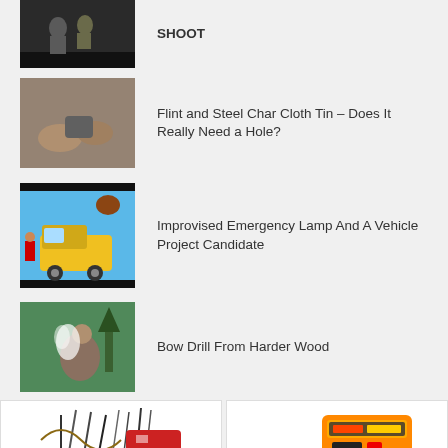SHOOT
Flint and Steel Char Cloth Tin – Does It Really Need a Hole?
Improvised Emergency Lamp And A Vehicle Project Candidate
Bow Drill From Harder Wood
[Figure (photo): Survival kit advertisement with tools and backpack]
[Figure (photo): Orange jump starter device held in hand]